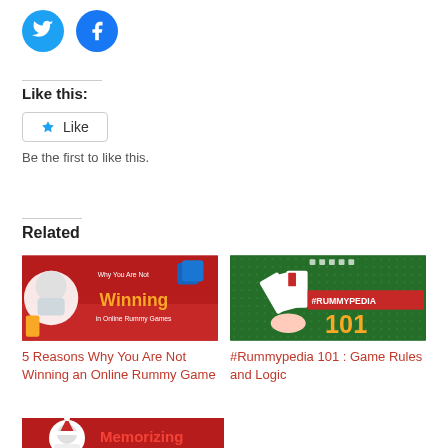[Figure (logo): Twitter and Facebook social share icons (circles with bird and f logos)]
Like this:
[Figure (other): Like button widget with star icon and text 'Like']
Be the first to like this.
Related
[Figure (photo): Red banner image with man in glasses and text 'Winning in Online Rummy Games - Why You Are Not']
5 Reasons Why You Are Not Winning an Online Rummy Game
[Figure (photo): Green background image with playing cards fan and text '#RUMMYPEDIA 101']
#Rummypedia 101 : Game Rules and Logic
[Figure (photo): Red banner image with man and text 'Memorizing Opponent's Cards']